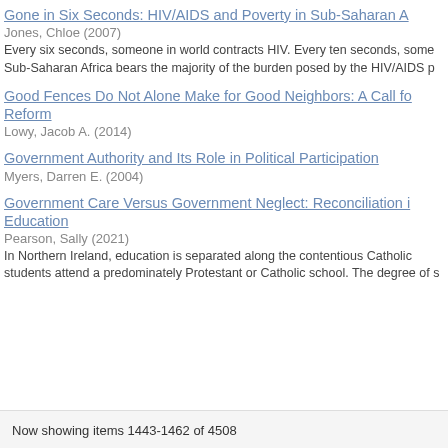Gone in Six Seconds: HIV/AIDS and Poverty in Sub-Saharan A
Jones, Chloe (2007)
Every six seconds, someone in world contracts HIV. Every ten seconds, some Sub-Saharan Africa bears the majority of the burden posed by the HIV/AIDS p
Good Fences Do Not Alone Make for Good Neighbors: A Call for Reform
Lowy, Jacob A. (2014)
Government Authority and Its Role in Political Participation
Myers, Darren E. (2004)
Government Care Versus Government Neglect: Reconciliation i Education
Pearson, Sally (2021)
In Northern Ireland, education is separated along the contentious Catholic students attend a predominately Protestant or Catholic school. The degree of s
Now showing items 1443-1462 of 4508